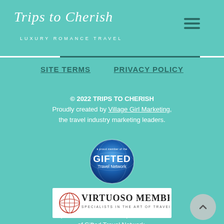[Figure (logo): Trips to Cherish - Luxury Romance Travel logo with script text on teal header bar]
Trips to Cherish | LUXURY ROMANCE TRAVEL
SITE TERMS   PRIVACY POLICY
© 2022 TRIPS TO CHERISH
Proudly created by Village Girl Marketing, the travel industry marketing leaders.
[Figure (logo): Gifted Travel Network circular blue badge logo]
[Figure (logo): Virtuoso Member - Specialists in the Art of Travel logo]
Trips to Cherish is an independent affiliate of Gifted Travel Network, a Virtuoso Member Agency
Gifted Travel Network, Inc is registered with the following state licenses: California - Seller of Travel Registration No. 2113317-40.